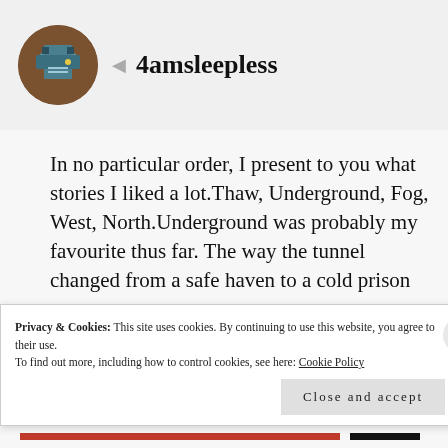4amsleepless
In no particular order, I present to you what stories I liked a lot.Thaw, Underground, Fog, West, North.Underground was probably my favourite thus far. The way the tunnel changed from a safe haven to a cold prison to a
Privacy & Cookies: This site uses cookies. By continuing to use this website, you agree to their use.
To find out more, including how to control cookies, see here: Cookie Policy
Close and accept